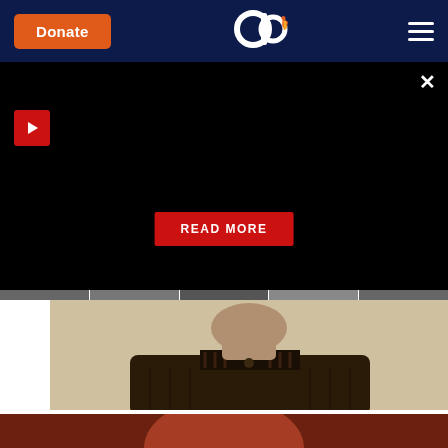Donate | Aish.com logo | Menu
[Figure (screenshot): Black video/ad panel with red play button, READ MORE button, and filmstrip controls]
[Figure (photo): Sepia-toned photograph of a young man in a plaid shirt, cropped to show neck and torso]
The Holocaust Survivor and the SS Guard
[Figure (photo): Partial view of a second article image, reddish-brown toned]